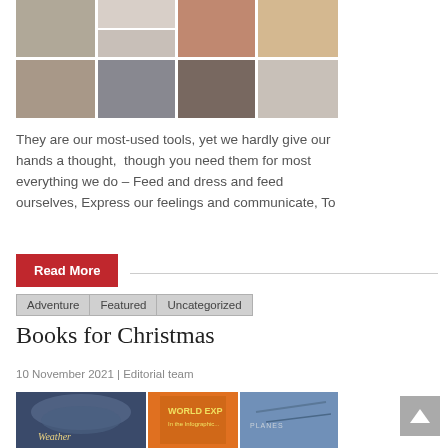[Figure (photo): Collage of photos showing hands, people handshaking, gesturing, and interacting]
They are our most-used tools, yet we hardly give our hands a thought, though you need them for most everything we do – Feed and dress and feed ourselves, Express our feelings and communicate, To
Read More
Adventure
Featured
Uncategorized
Books for Christmas
10 November 2021 | Editorial team
[Figure (photo): Books displayed including The Weather, World Explorer, and Planes]